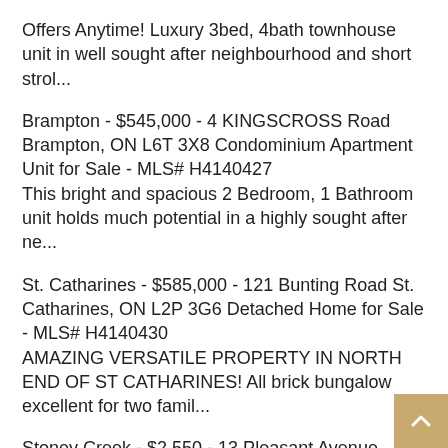Offers Anytime! Luxury 3bed, 4bath townhouse unit in well sought after neighbourhood and short strol...
Brampton - $545,000 - 4 KINGSCROSS Road Brampton, ON L6T 3X8 Condominium Apartment Unit for Sale - MLS# H4140427
This bright and spacious 2 Bedroom, 1 Bathroom unit holds much potential in a highly sought after ne...
St. Catharines - $585,000 - 121 Bunting Road St. Catharines, ON L2P 3G6 Detached Home for Sale - MLS# H4140430
AMAZING VERSATILE PROPERTY IN NORTH END OF ST CATHARINES! All brick bungalow excellent for two famil...
Stoney Creek - $2,550 - 13 Pleasant Avenue Stoney Creek, ON L8G 2L3 Detached Home for Rent - MLS# H4140444
UTILITIES INCLUDED! Main floor bungalow for rent...